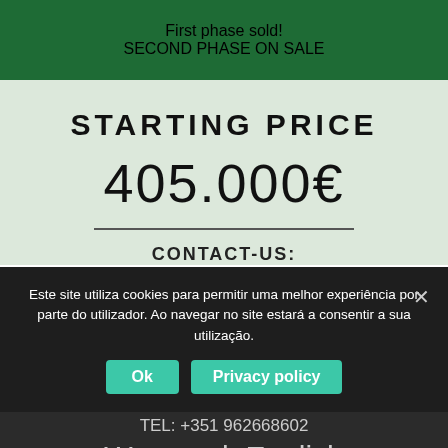First phase sold! SECOND PHASE ON SALE
STARTING PRICE
405.000€
CONTACT-US:
TEL: +351 962668602
We speak English
Este site utiliza cookies para permitir uma melhor experiência por parte do utilizador. Ao navegar no site estará a consentir a sua utilização.